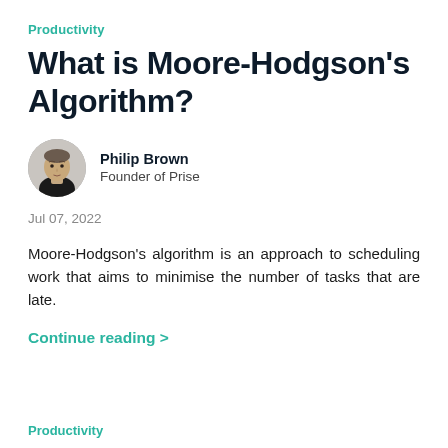Productivity
What is Moore-Hodgson's Algorithm?
[Figure (photo): Circular portrait photo of Philip Brown, a young man with short hair wearing a black shirt, against a light background.]
Philip Brown
Founder of Prise
Jul 07, 2022
Moore-Hodgson's algorithm is an approach to scheduling work that aims to minimise the number of tasks that are late.
Continue reading >
Productivity